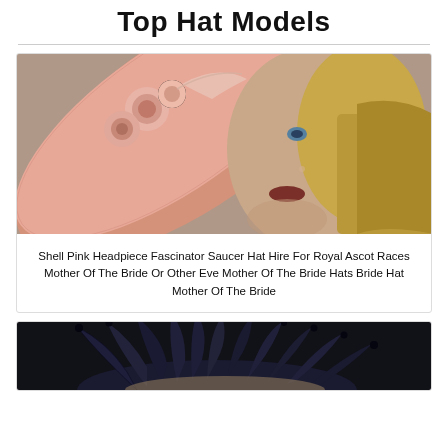Top Hat Models
[Figure (photo): Mannequin wearing a shell pink wide-brim fascinator saucer hat with pink roses and netting, shown at a diagonal angle. The mannequin has blonde hair and blue eyes.]
Shell Pink Headpiece Fascinator Saucer Hat Hire For Royal Ascot Races Mother Of The Bride Or Other Eve Mother Of The Bride Hats Bride Hat Mother Of The Bride
[Figure (photo): Mannequin or person wearing a dark navy/black feathered hat with large feathers fanning outward.]